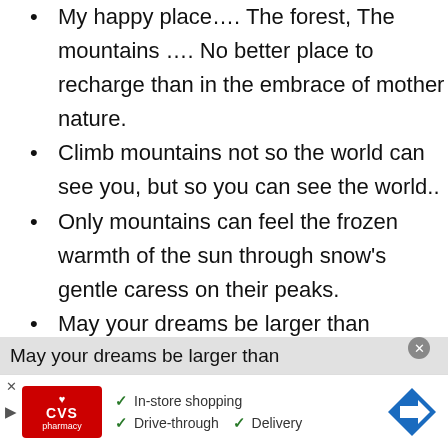My happy place…. The forest, The mountains …. No better place to recharge than in the embrace of mother nature.
Climb mountains not so the world can see you, but so you can see the world..
Only mountains can feel the frozen warmth of the sun through snow's gentle caress on their peaks.
May your dreams be larger than
[Figure (screenshot): CVS Pharmacy advertisement banner showing In-store shopping, Drive-through, and Delivery options with checkmarks and navigation icon]